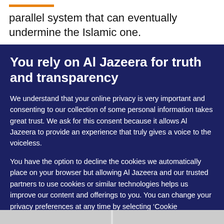parallel system that can eventually undermine the Islamic one.
You rely on Al Jazeera for truth and transparency
We understand that your online privacy is very important and consenting to our collection of some personal information takes great trust. We ask for this consent because it allows Al Jazeera to provide an experience that truly gives a voice to the voiceless.
You have the option to decline the cookies we automatically place on your browser but allowing Al Jazeera and our trusted partners to use cookies or similar technologies helps us improve our content and offerings to you. You can change your privacy preferences at any time by selecting ‘Cookie preferences’ at the bottom of your screen. To learn more, please view our Cookie Policy.